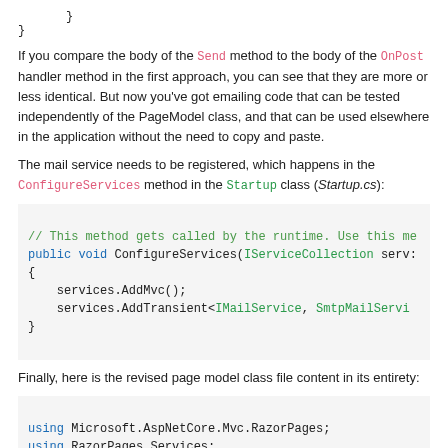}
}
If you compare the body of the Send method to the body of the OnPost handler method in the first approach, you can see that they are more or less identical. But now you've got emailing code that can be tested independently of the PageModel class, and that can be used elsewhere in the application without the need to copy and paste.
The mail service needs to be registered, which happens in the ConfigureServices method in the Startup class (Startup.cs):
// This method gets called by the runtime. Use this me
public void ConfigureServices(IServiceCollection serv:
{
    services.AddMvc();
    services.AddTransient<IMailService, SmtpMailServi
}
Finally, here is the revised page model class file content in its entirety:
using Microsoft.AspNetCore.Mvc.RazorPages;
using RazorPages.Services;
using System.Threading.Tasks;